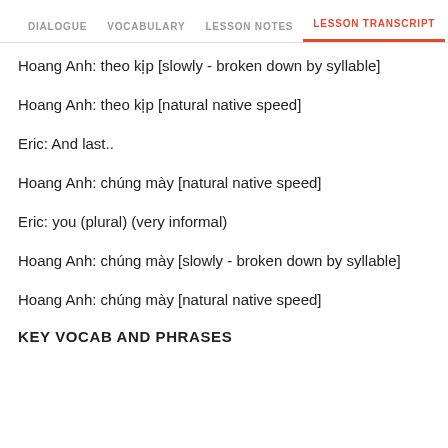DIALOGUE   VOCABULARY   LESSON NOTES   LESSON TRANSCRIPT
Hoang Anh: theo kịp [slowly - broken down by syllable]
Hoang Anh: theo kịp [natural native speed]
Eric: And last..
Hoang Anh: chúng mày [natural native speed]
Eric: you (plural) (very informal)
Hoang Anh: chúng mày [slowly - broken down by syllable]
Hoang Anh: chúng mày [natural native speed]
KEY VOCAB AND PHRASES